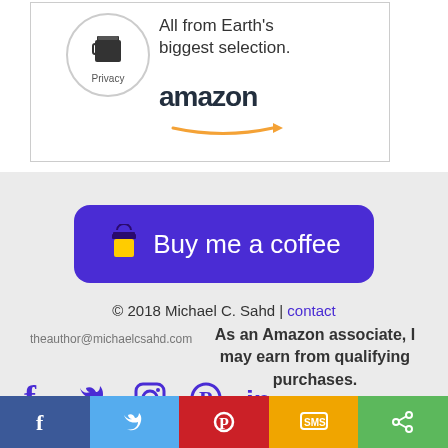[Figure (screenshot): Amazon advertisement banner showing 'All from Earth's biggest selection.' with Amazon logo and arrow]
[Figure (illustration): Purple 'Buy me a coffee' button with coffee cup icon]
© 2018 Michael C. Sahd | contact
theauthor@michaelcsahd.com
As an Amazon associate, I may earn from qualifying purchases.
[Figure (illustration): Social media icons: Facebook, Twitter, Instagram, Pinterest, LinkedIn]
Built with BoldGrid  |  Powered by
[Figure (illustration): Share bar with Facebook, Twitter, Pinterest, SMS, and share icons]